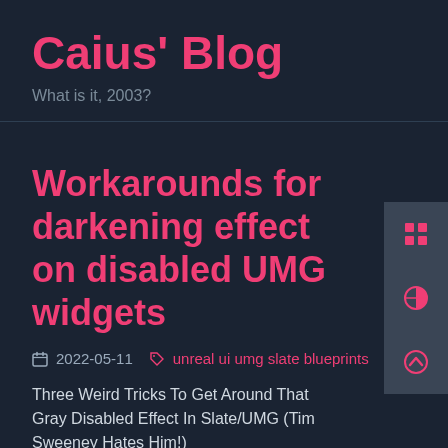Caius' Blog
What is it, 2003?
Workarounds for darkening effect on disabled UMG widgets
2022-05-11   unreal ui umg slate blueprints
Three Weird Tricks To Get Around That Gray Disabled Effect In Slate/UMG (Tim Sweeney Hates Him!)
[Figure (other): Black image/thumbnail area at bottom]